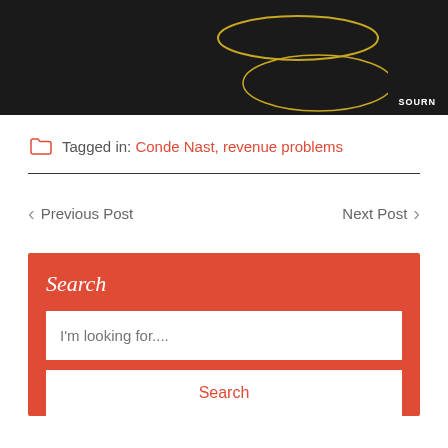[Figure (illustration): Dark background image with yellow oval/ellipse shapes and 'SOURN' text watermark in bottom right corner]
Tagged in: Conde Nast, revenue problems
Previous Post
Next Post
Search
I'm looking for....
Search